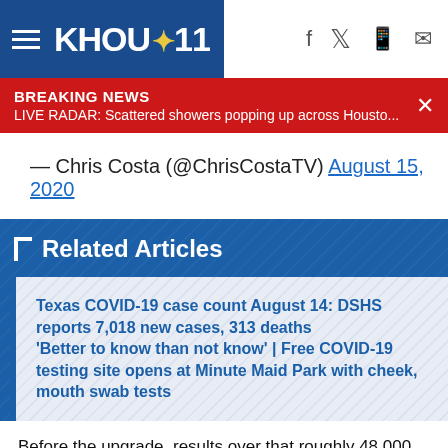KHOU 11
BREAKING NEWS
LIVE RADAR: Scattered showers popping up across Housto...
— Chris Costa (@ChrisCostaTV) August 15, 2020
Related Articles
Texas COVID-19 case count August 14: DSHS reports 7,018 new cases, 313 deaths
'Better to know than not know' | Free COVID-19 testing site opens at Minute Maid Park with cheek, mouth swab tests
Before the upgrade, results over that roughly 48,000 limit